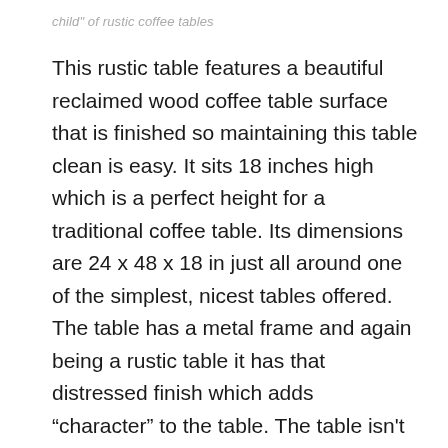child" of rustic coffee tables
This rustic table features a beautiful reclaimed wood coffee table surface that is finished so maintaining this table clean is easy. It sits 18 inches high which is a perfect height for a traditional coffee table. Its dimensions are 24 x 48 x 18 in just all around one of the simplest, nicest tables offered. The table has a metal frame and again being a rustic table it has that distressed finish which adds “character” to the table. The table isn't heavy and the assembly was a breeze and took me no more than 30 minutes by myself. The bottom shelf also comes in handy to set your books or magazines in. Extremely simple yet effective rustic coffee